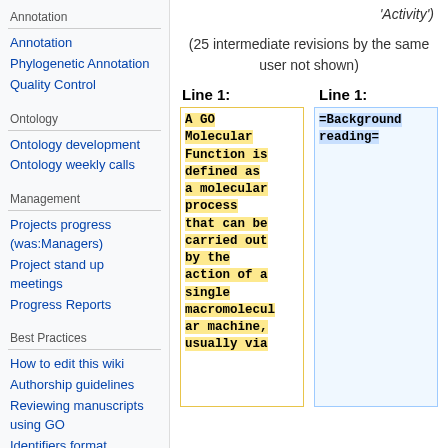Annotation
Annotation
Phylogenetic Annotation
Quality Control
Ontology
Ontology development
Ontology weekly calls
Management
Projects progress (was:Managers)
Project stand up meetings
Progress Reports
Best Practices
How to edit this wiki
Authorship guidelines
Reviewing manuscripts using GO
Identifiers format
Tools
'Activity')
(25 intermediate revisions by the same user not shown)
Line 1:
Line 1:
A GO Molecular Function is defined as a molecular process that can be carried out by the action of a single macromolecular machine, usually via
=Background reading=